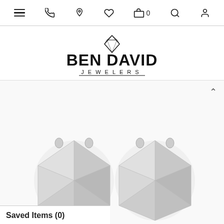Navigation bar with menu, phone, location, wishlist, cart (0), search, account icons
[Figure (logo): Ben David Jewelers logo with diamond icon above bold text BEN DAVID and JEWELERS in spaced letters below]
[Figure (photo): Two round diamond stud earrings with prong settings on white background, partially cropped at bottom]
Saved Items (0)